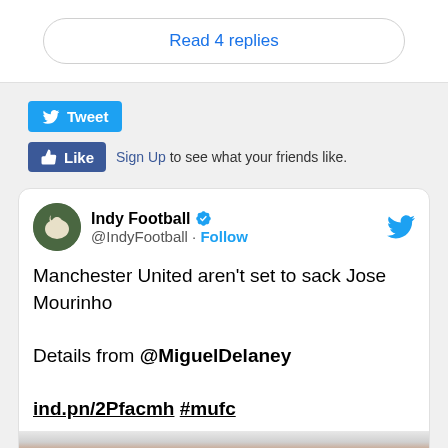Read 4 replies
[Figure (screenshot): Twitter Tweet button (blue bird icon + 'Tweet' text)]
Like  Sign Up to see what your friends like.
Indy Football @IndyFootball · Follow
Manchester United aren't set to sack Jose Mourinho

Details from @MiguelDelaney

ind.pn/2Pfacmh #mufc
[Figure (photo): Close-up photo of a person's face with white/grey hair and prominent forehead]